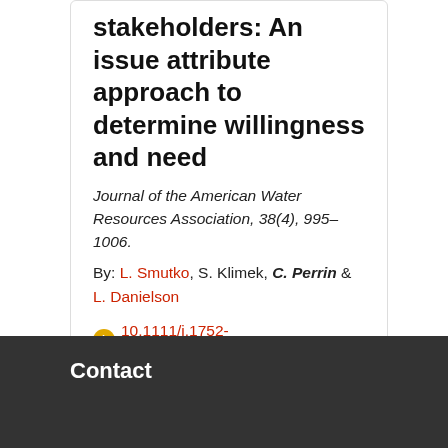stakeholders: An issue attribute approach to determine willingness and need
Journal of the American Water Resources Association, 38(4), 995–1006.
By: L. Smutko, S. Klimek, C. Perrin & L. Danielson
10.1111/j.1752-1688.2002.tb05540.x
Find Text @ NCSU
citeseerx.ist.psu.edu (repository)
Source: NC State University Libraries
Added: August 6, 2018
Contact